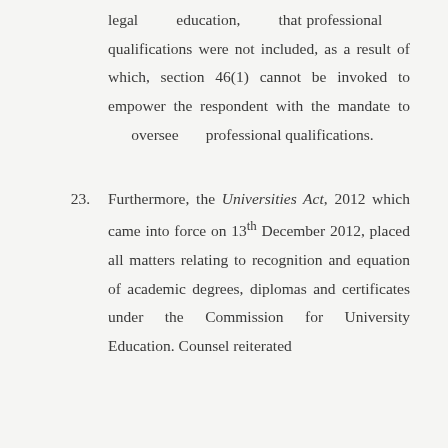legal education, that professional qualifications were not included, as a result of which, section 46(1) cannot be invoked to empower the respondent with the mandate to oversee professional qualifications.
23. Furthermore, the Universities Act, 2012 which came into force on 13th December 2012, placed all matters relating to recognition and equation of academic degrees, diplomas and certificates under the Commission for University Education. Counsel reiterated